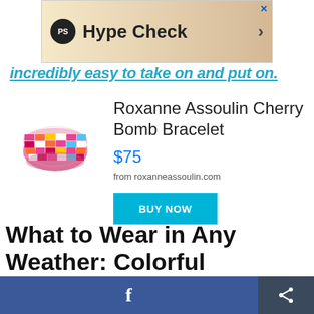[Figure (screenshot): Advertisement banner for PS Hype Check with a PS logo circle, title text and arrow]
incredibly easy to take on and put on.
Roxanne Assoulin Cherry Bomb Bracelet
[Figure (photo): Colorful beaded stretch bracelet with multi-color rectangular bead pattern in pink, orange, red, white]
$75
from roxanneassoulin.com
BUY NOW
What to Wear in Any Weather: Colorful
Facebook share button and generic share button